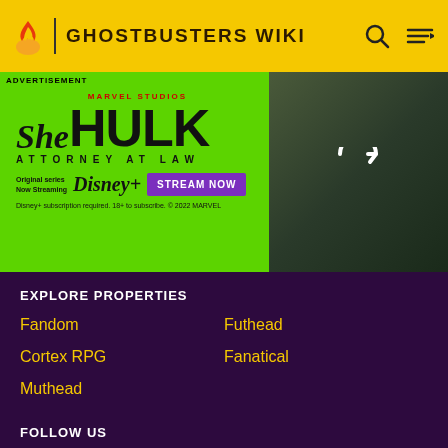GHOSTBUSTERS WIKI
[Figure (screenshot): She-Hulk Attorney at Law advertisement banner on green background with Marvel Studios branding, Disney+ streaming promotion and Stream Now button, with an image of a woman on the right side]
EXPLORE PROPERTIES
Fandom
Futhead
Cortex RPG
Fanatical
Muthead
FOLLOW US
[Figure (infographic): Social media icons: Facebook, Twitter, YouTube, Instagram, LinkedIn]